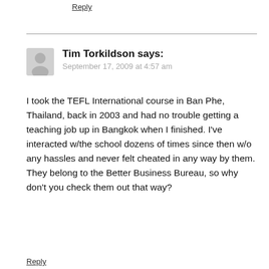Reply
Tim Torkildson says:
September 17, 2009 at 4:57 am
I took the TEFL International course in Ban Phe, Thailand, back in 2003 and had no trouble getting a teaching job up in Bangkok when I finished. I've interacted w/the school dozens of times since then w/o any hassles and never felt cheated in any way by them. They belong to the Better Business Bureau, so why don't you check them out that way?
Reply